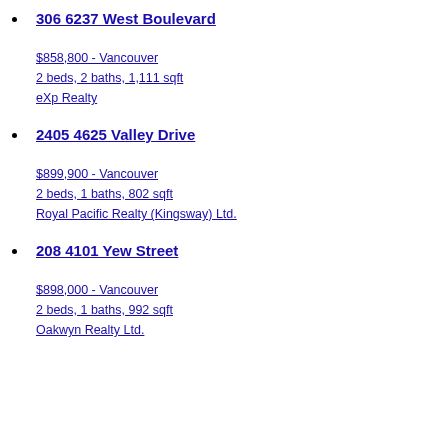306 6237 West Boulevard
$858,800 - Vancouver
2 beds, 2 baths, 1,111 sqft
eXp Realty
2405 4625 Valley Drive
$899,900 - Vancouver
2 beds, 1 baths, 802 sqft
Royal Pacific Realty (Kingsway) Ltd.
208 4101 Yew Street
$898,000 - Vancouver
2 beds, 1 baths, 992 sqft
Oakwyn Realty Ltd.